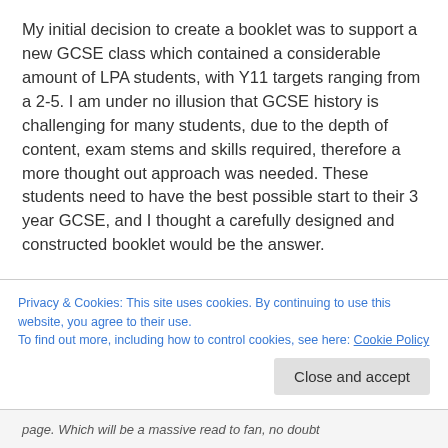My initial decision to create a booklet was to support a new GCSE class which contained a considerable amount of LPA students, with Y11 targets ranging from a 2-5. I am under no illusion that GCSE history is challenging for many students, due to the depth of content, exam stems and skills required, therefore a more thought out approach was needed. These students need to have the best possible start to their 3 year GCSE, and I thought a carefully designed and constructed booklet would be the answer.
I was also struck by a tweet by @MrSamPullan, which chimed with the extensive notemaking lessons we do
Privacy & Cookies: This site uses cookies. By continuing to use this website, you agree to their use. To find out more, including how to control cookies, see here: Cookie Policy
Close and accept
page. Which will be a massive read to fan, no doubt